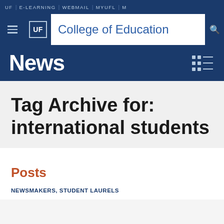UF | E-LEARNING | WEBMAIL | MYUFL | M
UF College of Education
News
Tag Archive for: international students
Posts
NEWSMAKERS, STUDENT LAURELS